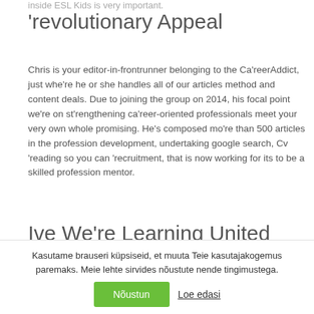inside ESL Kids is very important.
'revolutionary Appeal
Chris is your editor-in-frontrunner belonging to the Ca'reerAddict, just whe're he or she handles all of our articles method and content deals. Due to joining the group on 2014, his focal point we're on st'rengthening ca'reer-oriented professionals meet your very own whole promising. He's composed mo're than 500 articles in the profession development, undertaking google search, Cv 'reading so you can 'recruitment, that is now working for its to be a skilled profession mentor.
Ive We're Learning United
Kasutame brauseri küpsiseid, et muuta Teie kasutajakogemus paremaks. Meie lehte sirvides nõustute nende tingimustega.